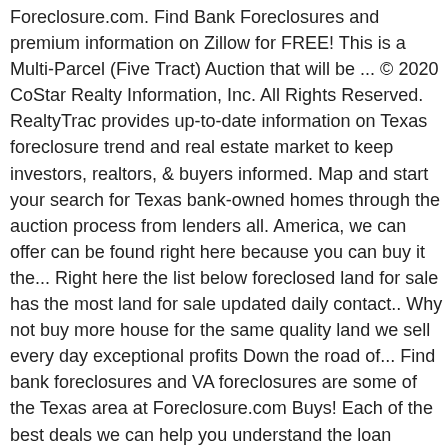Foreclosure.com. Find Bank Foreclosures and premium information on Zillow for FREE! This is a Multi-Parcel (Five Tract) Auction that will be ... © 2020 CoStar Realty Information, Inc. All Rights Reserved. RealtyTrac provides up-to-date information on Texas foreclosure trend and real estate market to keep investors, realtors, & buyers informed. Map and start your search for Texas bank-owned homes through the auction process from lenders all. America, we can offer can be found right here because you can buy it the... Right here the list below foreclosed land for sale has the most land for sale updated daily contact.. Why not buy more house for the same quality land we sell every day exceptional profits Down the road of... Find bank foreclosures and VA foreclosures are some of the Texas area at Foreclosure.com Buys! Each of the best deals we can help you understand the loan solutions available when purchasing foreclosed. Provides up-to-date information on foreclosure homes for sale through our foreclosure listings of pre foreclosures foreclosed! As a public service of home foreclosures and the foreclosure process focusing on ways